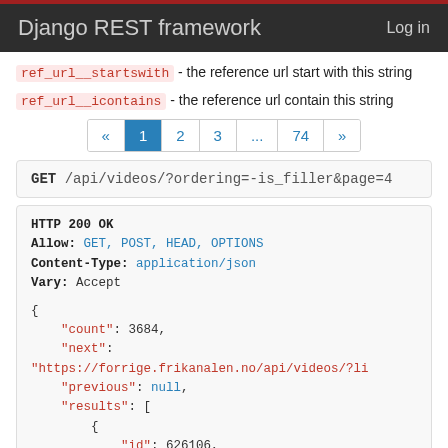Django REST framework   Log in
ref_url__startswith - the reference url start with this string
ref_url__icontains - the reference url contain this string
« 1 2 3 ... 74 »
GET /api/videos/?ordering=-is_filler&page=4
HTTP 200 OK
Allow: GET, POST, HEAD, OPTIONS
Content-Type: application/json
Vary: Accept

{
    "count": 3684,
    "next": "https://forrige.frikanalen.no/api/videos/?li
    "previous": null,
    "results": [
        {
            "id": 626106,